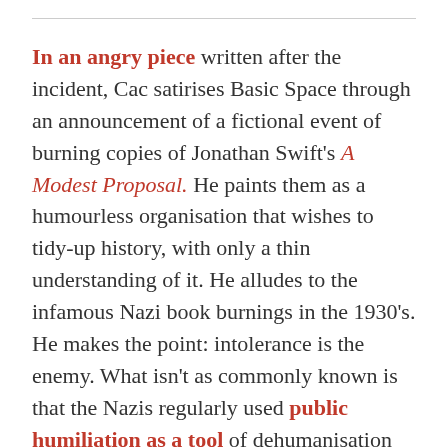In an angry piece written after the incident, Cac satirises Basic Space through an announcement of a fictional event of burning copies of Jonathan Swift's A Modest Proposal. He paints them as a humourless organisation that wishes to tidy-up history, with only a thin understanding of it. He alludes to the infamous Nazi book burnings in the 1930's. He makes the point: intolerance is the enemy. What isn't as commonly known is that the Nazis regularly used public humiliation as a tool of dehumanisation and social control.
Cancel Culture is a contemporary phenomenon that wishes to edit the violating party from view completely and sometimes historically. Swipe left. It is a fact that Cancel Culture is at minimum public outcry, but in it's extreme... public humiliation and shaming. Nicholas